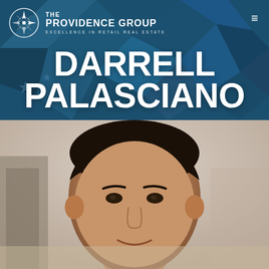[Figure (logo): The Providence Group logo with compass rose icon, text 'THE PROVIDENCE GROUP' and tagline 'EXCELLENCE IN RETAIL REAL ESTATE']
DARRELL PALASCIANO
[Figure (photo): Headshot photo of Darrell Palasciano, a man with dark hair, smiling, outdoors with blurred background]